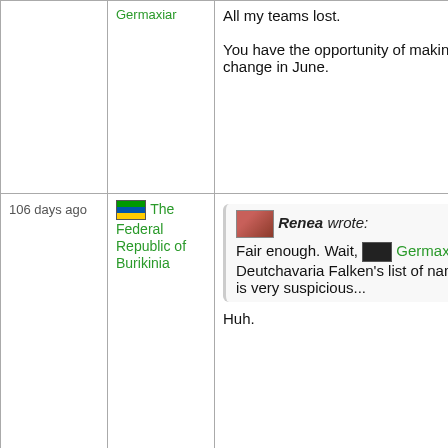| date | user | message |
| --- | --- | --- |
|  | Germaxiar | All my teams lost.

You have the opportunity of making that change in June. |
| 106 days ago | The Federal Republic of Burikinia | Renea wrote:
Fair enough. Wait, Germaxiar's Deutchavaria Falken's list of names is very suspicious...

Huh. |
| 106 days ago | The ... |  |